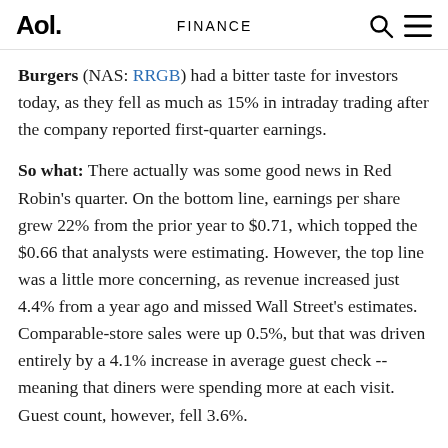Aol.   FINANCE
Burgers (NAS: RRGB) had a bitter taste for investors today, as they fell as much as 15% in intraday trading after the company reported first-quarter earnings.
So what: There actually was some good news in Red Robin’s quarter. On the bottom line, earnings per share grew 22% from the prior year to $0.71, which topped the $0.66 that analysts were estimating. However, the top line was a little more concerning, as revenue increased just 4.4% from a year ago and missed Wall Street’s estimates. Comparable-store sales were up 0.5%, but that was driven entirely by a 4.1% increase in average guest check -- meaning that diners were spending more at each visit. Guest count, however, fell 3.6%.